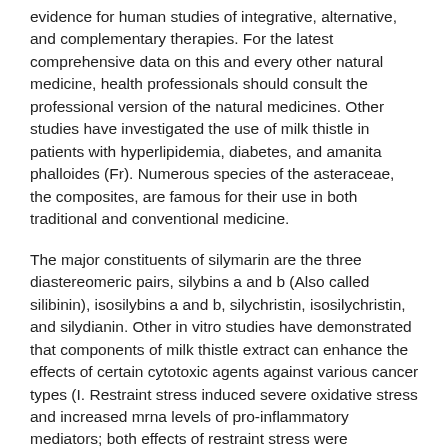evidence for human studies of integrative, alternative, and complementary therapies. For the latest comprehensive data on this and every other natural medicine, health professionals should consult the professional version of the natural medicines. Other studies have investigated the use of milk thistle in patients with hyperlipidemia, diabetes, and amanita phalloides (Fr). Numerous species of the asteraceae, the composites, are famous for their use in both traditional and conventional medicine.
The major constituents of silymarin are the three diastereomeric pairs, silybins a and b (Also called silibinin), isosilybins a and b, silychristin, isosilychristin, and silydianin. Other in vitro studies have demonstrated that components of milk thistle extract can enhance the effects of certain cytotoxic agents against various cancer types (I. Restraint stress induced severe oxidative stress and increased mrna levels of pro-inflammatory mediators; both effects of restraint stress were significantly inhibited by silymarin. Adding the silymarin supplement livergol to standard rheumatoid arthritis drug therapy was reported to significantly improve various disease severity parameters. Inhibition by blueberries (Bilberries) and extract from milk thistle of rat forestomach hyperplasia induced by oral smokeless tobacco (Swedish snus). Today, it is used for the same purpose in evidence-based medicine (Ebm). Silybin concentrations after intake of milk